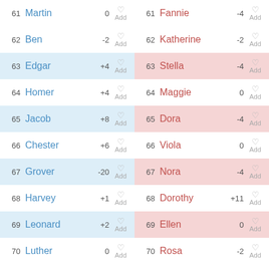| # | Name (Male) | Change | Action | # | Name (Female) | Change | Action |
| --- | --- | --- | --- | --- | --- | --- | --- |
| 61 | Martin | 0 | Add | 61 | Fannie | -4 | Add |
| 62 | Ben | -2 | Add | 62 | Katherine | -2 | Add |
| 63 | Edgar | +4 | Add | 63 | Stella | -4 | Add |
| 64 | Homer | +4 | Add | 64 | Maggie | 0 | Add |
| 65 | Jacob | +8 | Add | 65 | Dora | -4 | Add |
| 66 | Chester | +6 | Add | 66 | Viola | 0 | Add |
| 67 | Grover | -20 | Add | 67 | Nora | -4 | Add |
| 68 | Harvey | +1 | Add | 68 | Dorothy | +11 | Add |
| 69 | Leonard | +2 | Add | 69 | Ellen | 0 | Add |
| 70 | Luther | 0 | Add | 70 | Rosa | -2 | Add |